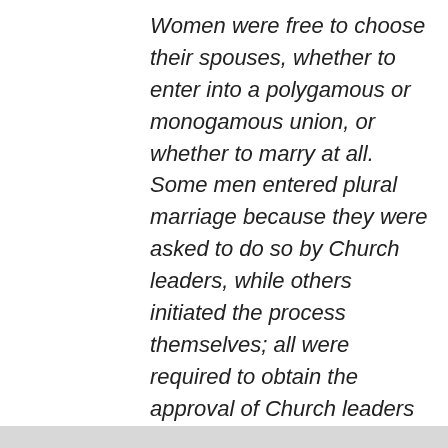Women were free to choose their spouses, whether to enter into a polygamous or monogamous union, or whether to marry at all. Some men entered plural marriage because they were asked to do so by Church leaders, while others initiated the process themselves; all were required to obtain the approval of Church leaders before entering a plural marriage.[2]